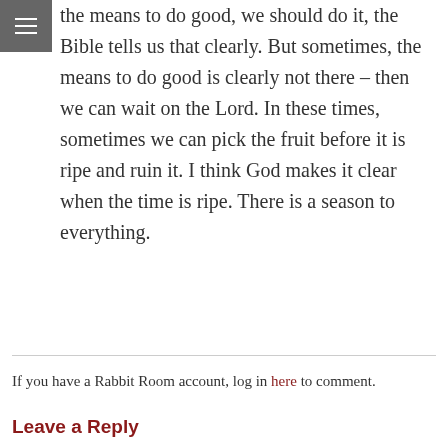the means to do good, we should do it, the Bible tells us that clearly. But sometimes, the means to do good is clearly not there – then we can wait on the Lord. In these times, sometimes we can pick the fruit before it is ripe and ruin it. I think God makes it clear when the time is ripe. There is a season to everything.
If you have a Rabbit Room account, log in here to comment.
Leave a Reply
Your email address will not be published. Required fields are marked *